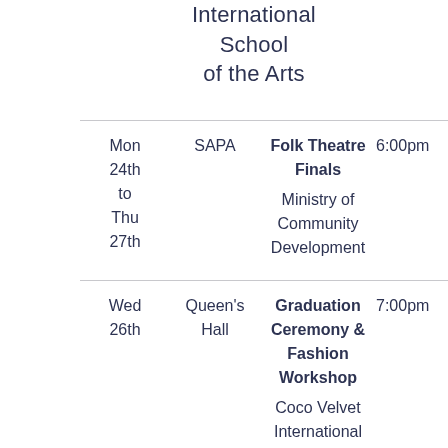International School of the Arts
| Date | Venue | Event | Time |
| --- | --- | --- | --- |
| Mon 24th to Thu 27th | SAPA | Folk Theatre Finals
Ministry of Community Development | 6:00pm |
| Wed 26th | Queen's Hall | Graduation Ceremony & Fashion Workshop
Coco Velvet International | 7:00pm |